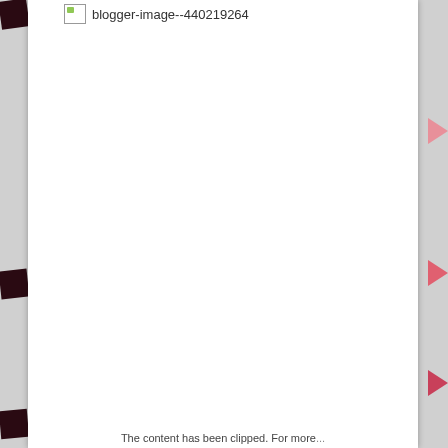[Figure (screenshot): A broken image placeholder with alt text 'blogger-image--440219264' shown at the top of a white page with decorative arrow/bookmark tabs on the left and right edges.]
The content has been clipped. For more...